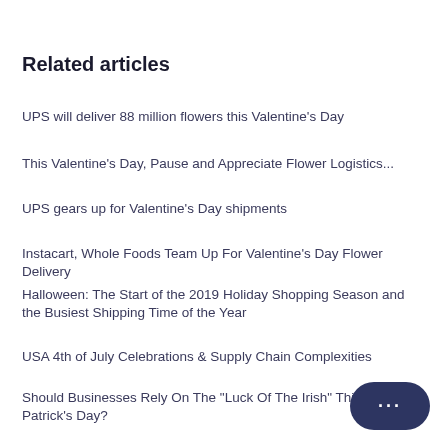Related articles
UPS will deliver 88 million flowers this Valentine's Day
This Valentine's Day, Pause and Appreciate Flower Logistics...
UPS gears up for Valentine's Day shipments
Instacart, Whole Foods Team Up For Valentine's Day Flower Delivery
Halloween: The Start of the 2019 Holiday Shopping Season and the Busiest Shipping Time of the Year
USA 4th of July Celebrations & Supply Chain Complexities
Should Businesses Rely On The "Luck Of The Irish" This St. Patrick's Day?
[Figure (other): Chat bubble button with three dots]